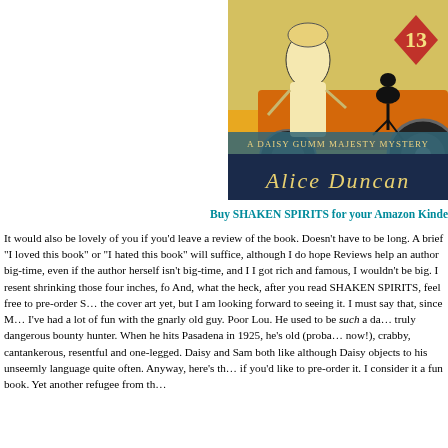[Figure (illustration): Book cover for 'Shaken Spirits' — A Daisy Gumm Majesty Mystery (#13) by Alice Duncan. Features a 1920s flapper woman, an orange vintage car, a black cat, and the number 13 in a red diamond. The author name 'Alice Duncan' appears on a dark blue banner at the bottom.]
Buy SHAKEN SPIRITS for your Amazon Kindle
It would also be lovely of you if you'd leave a review of the book. Doesn't have to be long. A brief "I loved this book" or "I hated this book" will suffice, although I do hope you love it. Reviews help an author big-time, even if the author herself isn't big-time, and I doubt, even if I got rich and famous, I wouldn't be big. I resent shrinking those four inches, for crying out loud. And, what the heck, after you read SHAKEN SPIRITS, feel free to pre-order S… I don't have the cover art yet, but I am looking forward to seeing it. I must say that, since M… I've had a lot of fun with the gnarly old guy. Poor Lou. He used to be such a dangerously and truly dangerous bounty hunter. When he hits Pasadena in 1925, he's old (probably eighty or so now!), crabby, cantankerous, resentful and one-legged. Daisy and Sam both like him anyway, although Daisy objects to his unseemly language quite often. Anyway, here's the link in case if you'd like to pre-order it. I consider it a fun book. Yet another refugee from the